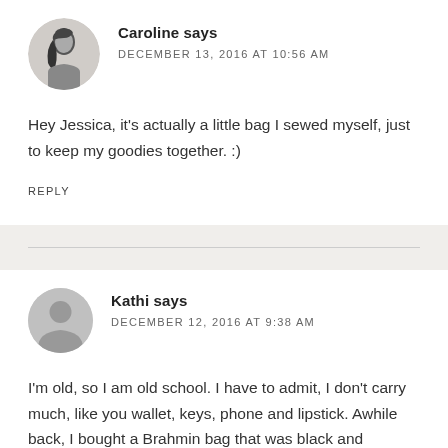[Figure (photo): Circular avatar photo of Caroline, a woman with dark hair]
Caroline says
DECEMBER 13, 2016 AT 10:56 AM
Hey Jessica, it's actually a little bag I sewed myself, just to keep my goodies together. :)
REPLY
[Figure (illustration): Circular grey default avatar silhouette for Kathi]
Kathi says
DECEMBER 12, 2016 AT 9:38 AM
I'm old, so I am old school. I have to admit, I don't carry much, like you wallet, keys, phone and lipstick. Awhile back, I bought a Brahmin bag that was black and cognac. Love it, and unless I am travelling and